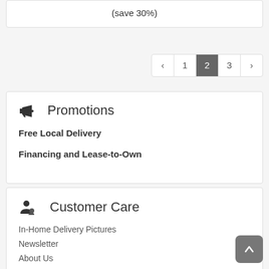(save 30%)
< 1 2 3 >
Promotions
Free Local Delivery
Financing and Lease-to-Own
Customer Care
In-Home Delivery Pictures
Newsletter
About Us
FAQs
Purchase Options
Contact Us